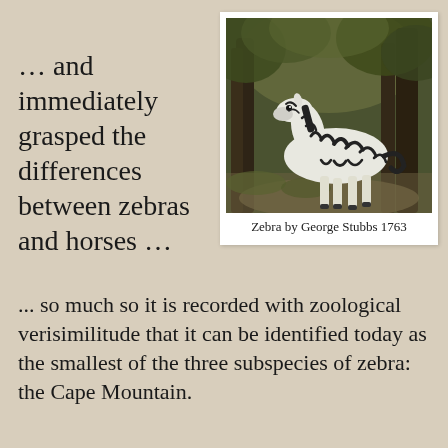… and immediately grasped the differences between zebras and horses …
[Figure (photo): Painting of a zebra in a forest setting, titled 'Zebra by George Stubbs 1763']
Zebra by George Stubbs 1763
... so much so it is recorded with zoological verisimilitude that it can be identified today as the smallest of the three subspecies of zebra: the Cape Mountain.